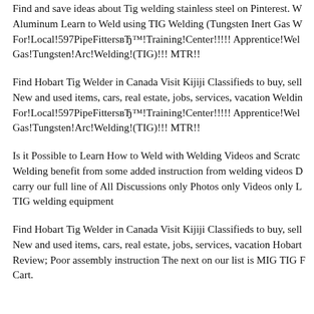Find and save ideas about Tig welding stainless steel on Pinterest. Aluminum Learn to Weld using TIG Welding (Tungsten Inert Gas W For!Local!597PipeFittersвЂ™!Training!Center!!!!! Apprentice!Wel Gas!Tungsten!Arc!Welding!(TIG)!!! MTR!!
Find Hobart Tig Welder in Canada Visit Kijiji Classifieds to buy, sell New and used items, cars, real estate, jobs, services, vacation Weldin For!Local!597PipeFittersвЂ™!Training!Center!!!!! Apprentice!Wel Gas!Tungsten!Arc!Welding!(TIG)!!! MTR!!
Is it Possible to Learn How to Weld with Welding Videos and Scratch Welding benefit from some added instruction from welding videos D carry our full line of All Discussions only Photos only Videos only L TIG welding equipment
Find Hobart Tig Welder in Canada Visit Kijiji Classifieds to buy, sell New and used items, cars, real estate, jobs, services, vacation Hobart Review; Poor assembly instruction The next on our list is MIG TIG F Cart.